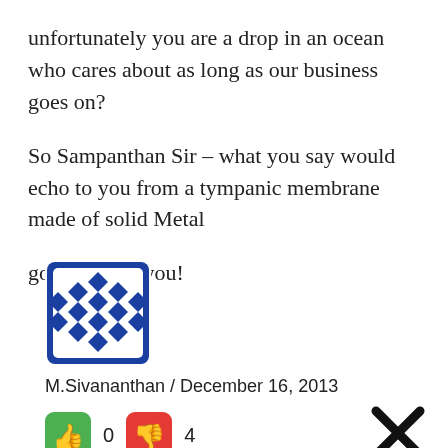unfortunately you are a drop in an ocean who cares about as long as our business goes on?
So Sampanthan Sir – what you say would echo to you from a tympanic membrane made of solid Metal
good luck to you!
[Figure (illustration): Blue and white geometric checkerboard pattern avatar icon]
M.Sivananthan / December 16, 2013
0   4
[Figure (infographic): Green thumbs up button, red thumbs down button, and black X close button]
Easy Online Ordering
McAlister's Deli